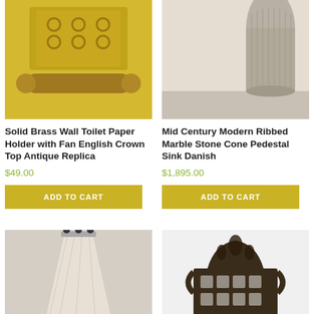[Figure (photo): Solid brass wall toilet paper holder with ornate fan/crown top, antique replica, gold/brass finish with wooden roller]
Solid Brass Wall Toilet Paper Holder with Fan English Crown Top Antique Replica
$49.00
ADD TO CART
[Figure (photo): Mid Century Modern ribbed marble stone cone pedestal sink, Danish style, beige/cream marble texture]
Mid Century Modern Ribbed Marble Stone Cone Pedestal Sink Danish
$1,895.00
ADD TO CART
[Figure (photo): Marble cone pedestal sink with black wall-mounted faucet, light beige/cream marble, on gray floor]
[Figure (photo): Ornate dark bronze/antique brass toilet paper holder with decorative floral crown top and brass roller]